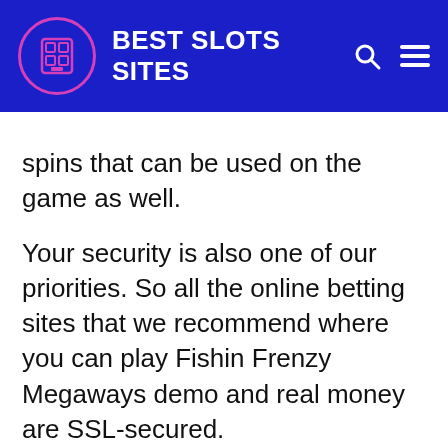BEST SLOTS SITES
spins that can be used on the game as well.
Your security is also one of our priorities. So all the online betting sites that we recommend where you can play Fishin Frenzy Megaways demo and real money are SSL-secured.
They also audit their games periodically, so you can rest assured that you will enjoy fair gaming and stand a chance to win in the slot as with